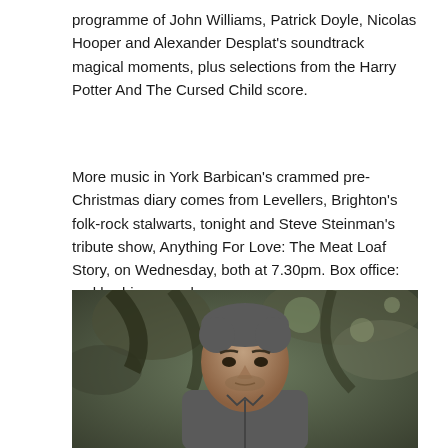programme of John Williams, Patrick Doyle, Nicolas Hooper and Alexander Desplat's soundtrack magical moments, plus selections from the Harry Potter And The Cursed Child score.
More music in York Barbican's crammed pre-Christmas diary comes from Levellers, Brighton's folk-rock stalwarts, tonight and Steve Steinman's tribute show, Anything For Love: The Meat Loaf Story, on Wednesday, both at 7.30pm. Box office: yorkbarbican.co.uk.
[Figure (photo): Portrait photo of a middle-aged man with grey-flecked short hair and stubble, wearing a grey zip-up jacket, with blurred trees in the background.]